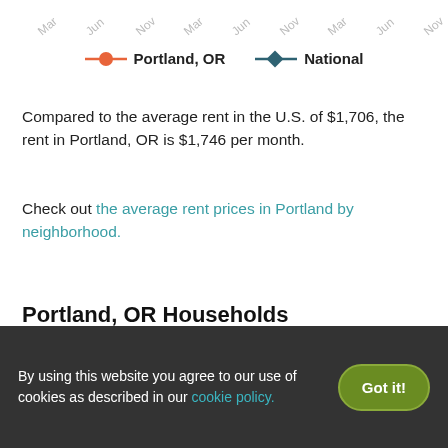[Figure (line-chart): Partial top of a line chart showing x-axis month labels (Mar, Jun, Nov repeating) for Portland, OR and National rent comparison]
Portland, OR | National — legend for line chart
Compared to the average rent in the U.S. of $1,706, the rent in Portland, OR is $1,746 per month.
Check out the average rent prices in Portland by neighborhood.
Portland, OR Households
Total Number of Households
277,142
By using this website you agree to our use of cookies as described in our cookie policy.